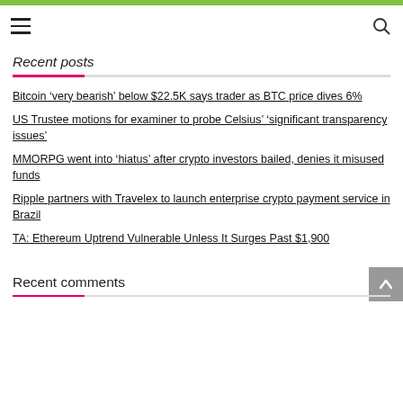Recent posts
Bitcoin ‘very bearish’ below $22.5K says trader as BTC price dives 6%
US Trustee motions for examiner to probe Celsius’ ‘significant transparency issues’
MMORPG went into ‘hiatus’ after crypto investors bailed, denies it misused funds
Ripple partners with Travelex to launch enterprise crypto payment service in Brazil
TA: Ethereum Uptrend Vulnerable Unless It Surges Past $1,900
Recent comments